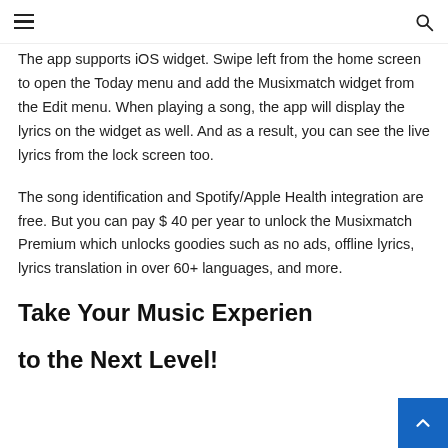≡   🔍
The app supports iOS widget. Swipe left from the home screen to open the Today menu and add the Musixmatch widget from the Edit menu. When playing a song, the app will display the lyrics on the widget as well. And as a result, you can see the live lyrics from the lock screen too.
The song identification and Spotify/Apple Health integration are free. But you can pay $ 40 per year to unlock the Musixmatch Premium which unlocks goodies such as no ads, offline lyrics, lyrics translation in over 60+ languages, and more.
Take Your Music Experience to the Next Level!